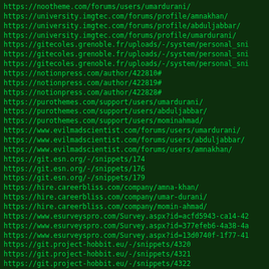https://nootheme.com/forums/users/umardurani/
https://university.imgtec.com/forums/profile/amnakhan/
https://university.imgtec.com/forums/profile/abduljabbar/
https://university.imgtec.com/forums/profile/umardurani/
https://gitecoles.grenoble.fr/uploads/-/system/personal_sni
https://gitecoles.grenoble.fr/uploads/-/system/personal_sni
https://gitecoles.grenoble.fr/uploads/-/system/personal_sni
https://notionpress.com/author/422810#
https://notionpress.com/author/422819#
https://notionpress.com/author/422828#
https://purothemes.com/support/users/umardurani/
https://purothemes.com/support/users/abduljabbar/
https://purothemes.com/support/users/mominahmad/
https://www.evilmadscientist.com/forums/users/umardurani/
https://www.evilmadscientist.com/forums/users/abduljabbar/
https://www.evilmadscientist.com/forums/users/amnakhan/
https://git.esn.org/-/snippets/174
https://git.esn.org/-/snippets/176
https://git.esn.org/-/snippets/179
https://hire.careerbliss.com/company/amna-khan/
https://hire.careerbliss.com/company/umar-durani/
https://hire.careerbliss.com/company/momin-ahmad/
https://www.esurveyspro.com/Survey.aspx?id=acfd5943-ca14-42
https://www.esurveyspro.com/Survey.aspx?id=377efeb6-4a38-4a
https://www.esurveyspro.com/Survey.aspx?id=13d0740f-1f77-41
https://git.project-hobbit.eu/-/snippets/4320
https://git.project-hobbit.eu/-/snippets/4321
https://git.project-hobbit.eu/-/snippets/4322
https://gitlab.blippar.com/umardurani/realestate/issues/1
https://gitlab.blippar.com/umardurani/realestate/issues/2